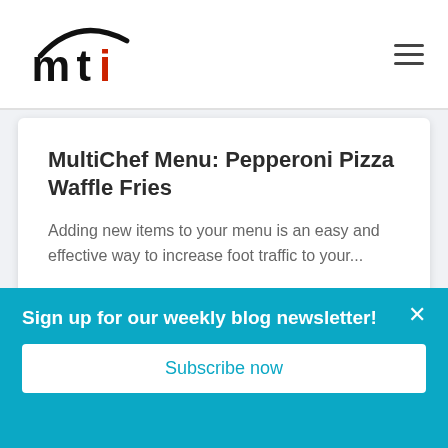[Figure (logo): MTI logo with black letter m, black letter t, red letter i and a curved black arc above, suggesting motion or speed]
MultiChef Menu: Pepperoni Pizza Waffle Fries
Adding new items to your menu is an easy and effective way to increase foot traffic to your...
1 minute read
Read More →
Sign up for our weekly blog newsletter!
Subscribe now